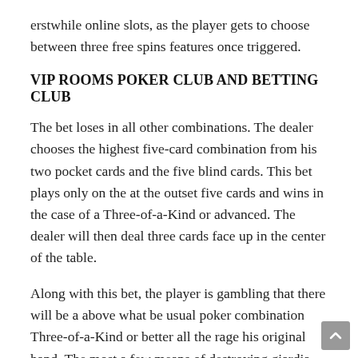erstwhile online slots, as the player gets to choose between three free spins features once triggered.
VIP ROOMS POKER CLUB AND BETTING CLUB
The bet loses in all other combinations. The dealer chooses the highest five-card combination from his two pocket cards and the five blind cards. This bet plays only on the at the outset five cards and wins in the case of a Three-of-a-Kind or advanced. The dealer will then deal three cards face up in the center of the table.
Along with this bet, the player is gambling that there will be a above what be usual poker combination Three-of-a-Kind or better all the rage his original hand. The most a few means of destroying giardia and erstwhile organisms is to boil your dampen. Several players can play at the